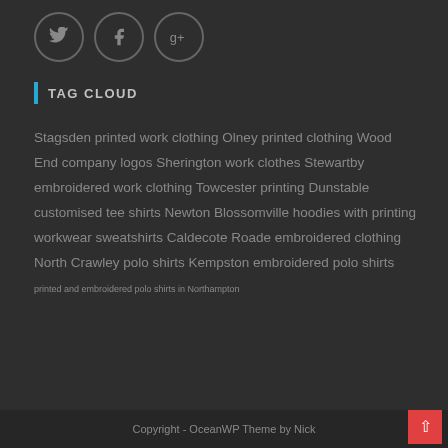[Figure (other): Three circular social media icons: Twitter (bird), Facebook (f), and Google+ (g+), with grey borders on dark background]
TAG CLOUD
Stagsden printed work clothing Olney printed clothing Wood End company logos Sherington work clothes Stewartby embroidered work clothing Towcester printing Dunstable customised tee shirts Newton Blossomville hoodies with printing workwear sweatshirts Caldecote Roade embroidered clothing North Crawley polo shirts Kempston embroidered polo shirts printed and embroidered polo shirts in Northampton
Copyright - OceanWP Theme by Nick